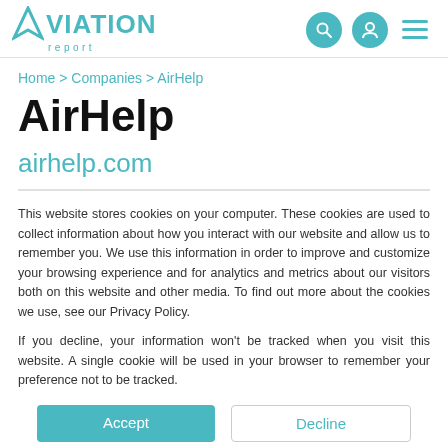Aviation Report — navigation header with logo, search, user, and menu icons
Home > Companies > AirHelp
AirHelp
airhelp.com
This website stores cookies on your computer. These cookies are used to collect information about how you interact with our website and allow us to remember you. We use this information in order to improve and customize your browsing experience and for analytics and metrics about our visitors both on this website and other media. To find out more about the cookies we use, see our Privacy Policy.
If you decline, your information won't be tracked when you visit this website. A single cookie will be used in your browser to remember your preference not to be tracked.
Accept | Decline